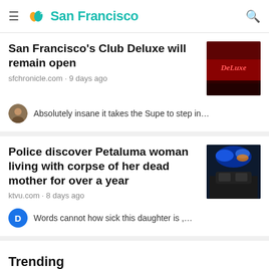San Francisco
San Francisco's Club Deluxe will remain open
sfchronicle.com · 9 days ago
Absolutely insane it takes the Supe to step in…
Police discover Petaluma woman living with corpse of her dead mother for over a year
ktvu.com · 8 days ago
Words cannot how sick this daughter is ,…
Trending